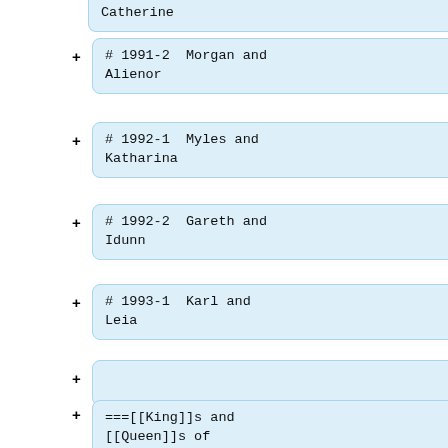Catherine (partial, top cut off)
# 1991-2  Morgan and Alienor
# 1992-1  Myles and Katharina
# 1992-2  Gareth and Idunn
# 1993-1  Karl and Leia
===[[King]]s and [[Queen]]s of Drachenwald===
# 1993-2  Elffin and Vanna